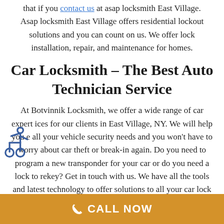that if you contact us at asap locksmith East Village. Asap locksmith East Village offers residential lockout solutions and you can count on us. We offer lock installation, repair, and maintenance for homes.
Car Locksmith – The Best Auto Technician Service
At Botvinnik Locksmith, we offer a wide range of car expert ices for our clients in East Village, NY. We will help you e all your vehicle security needs and you won't have to worry about car theft or break-in again. Do you need to program a new transponder for your car or do you need a lock to rekey? Get in touch with us. We have all the tools and latest technology to offer solutions to all your car lock issues. We pride ourselves to provide quick and effective automobile locksmith services and you can count on us always. If you are locked out of your car on a lonely ad
CALL NOW